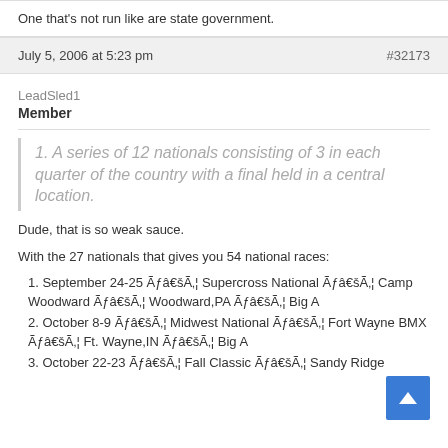One that's not run like are state government.
July 5, 2006 at 5:23 pm  #32173
LeadSled1
Member
1. A series of 12 nationals consisting of 3 in each quarter of the country with a final held in a central location.
Dude, that is so weak sauce.
With the 27 nationals that gives you 54 national races:
1. September 24-25 Ãƒâ€šÃ‚¦ Supercross National Ãƒâ€šÃ‚¦ Camp Woodward Ãƒâ€šÃ‚¦ Woodward,PA Ãƒâ€šÃ‚¦ Big A
2. October 8-9 Ãƒâ€šÃ‚¦ Midwest National Ãƒâ€šÃ‚¦ Fort Wayne BMX Ãƒâ€šÃ‚¦ Ft. Wayne,IN Ãƒâ€šÃ‚¦ Big A
3. October 22-23 Ãƒâ€šÃ‚¦ Fall Classic Ãƒâ€šÃ‚¦ Sandy Ridge